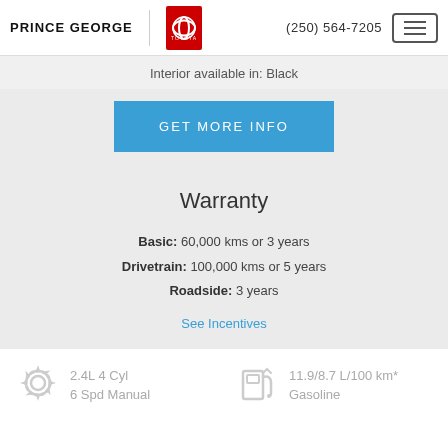PRINCE GEORGE TOYOTA | (250) 564-7205
Interior available in: Black
GET MORE INFO
Warranty
Basic: 60,000 kms or 3 years
Drivetrain: 100,000 kms or 5 years
Roadside: 3 years
See Incentives
2.4L 4 Cyl
6 Spd Manual
11.9/8.7 L/100 km*
Gasoline